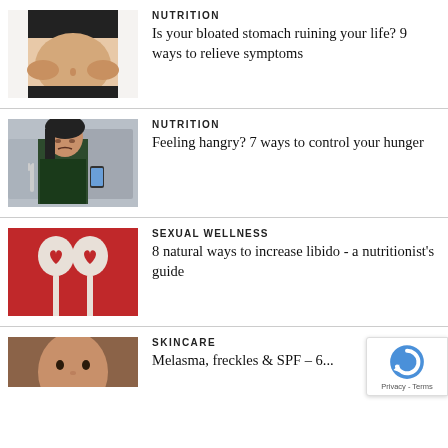[Figure (photo): Person holding bloated stomach, white background]
NUTRITION
Is your bloated stomach ruining your life? 9 ways to relieve symptoms
[Figure (photo): Young woman in gym holding fork and phone]
NUTRITION
Feeling hangry? 7 ways to control your hunger
[Figure (photo): Two white heart-spoons on red background]
SEXUAL WELLNESS
8 natural ways to increase libido - a nutritionist's guide
[Figure (photo): Person's face closeup on brown background]
SKINCARE
Melasma, freckles & SPF – 6...